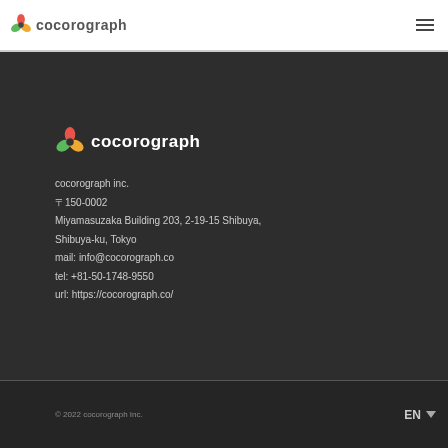cocorograph (header logo + menu icon)
[Figure (logo): Cocorograph logo with flower icon in footer dark section]
cocorograph inc.
〒150-0002
Miyamasuzaka Building 203, 2-19-15 Shibuya,
Shibuya-ku, Tokyo
mail: info@cocorograph.co
tel: +81-50-1748-9550
url: https://cocorograph.co/
© 2022 cocorograph Inc.    EN ▼